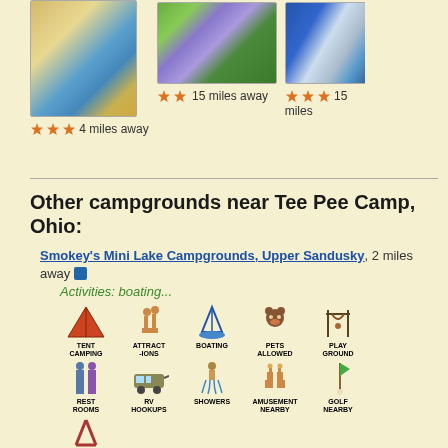[Figure (photo): Photo of a motel/lodge building with tan roof, 3 stars, 4 miles away]
[Figure (photo): Photo of a park with purple flowers and a green bench, 2 stars, 15 miles away]
[Figure (photo): Partial photo of a sign/building, 3 stars, 15 miles away]
★★★ 4 miles away
★★ 15 miles away
★★★ 15 miles
Other campgrounds near Tee Pee Camp, Ohio:
Smokey's Mini Lake Campgrounds, Upper Sandusky, 2 miles away
Activities: boating...
Amenities: Tent Camping, Attractions, Boating, Pets Allowed, Playground, Rest Rooms, RV Hookups, Showers, Amusement Nearby, Golf Nearby, Mini Golf Nearby
Walnut Grove Campground, Tiffin, 11 miles away
Amenities: Boat Rentals, Fires Allowed, Power, Attractions, Boating, Cabins, Fishing, Game Room, Laundry, Pets Allowed